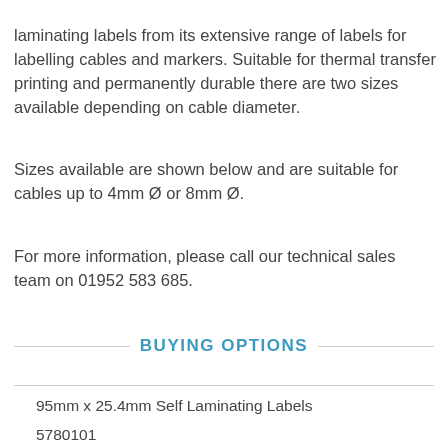[Figure (other): Partial image of a cable label product at the top of the page]
laminating labels from its extensive range of labels for labelling cables and markers. Suitable for thermal transfer printing and permanently durable there are two sizes available depending on cable diameter.
Sizes available are shown below and are suitable for cables up to 4mm Ø or 8mm Ø.
For more information, please call our technical sales team on 01952 583 685.
BUYING OPTIONS
95mm x 25.4mm Self Laminating Labels
5780101